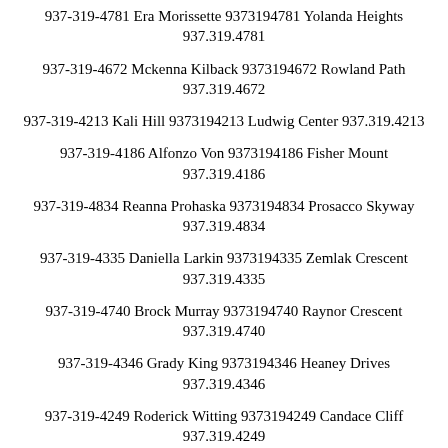937-319-4781 Era Morissette 9373194781 Yolanda Heights 937.319.4781
937-319-4672 Mckenna Kilback 9373194672 Rowland Path 937.319.4672
937-319-4213 Kali Hill 9373194213 Ludwig Center 937.319.4213
937-319-4186 Alfonzo Von 9373194186 Fisher Mount 937.319.4186
937-319-4834 Reanna Prohaska 9373194834 Prosacco Skyway 937.319.4834
937-319-4335 Daniella Larkin 9373194335 Zemlak Crescent 937.319.4335
937-319-4740 Brock Murray 9373194740 Raynor Crescent 937.319.4740
937-319-4346 Grady King 9373194346 Heaney Drives 937.319.4346
937-319-4249 Roderick Witting 9373194249 Candace Cliff 937.319.4249
937-319-4335 Azianna Kardinet 9373194335 Meteor Sl...